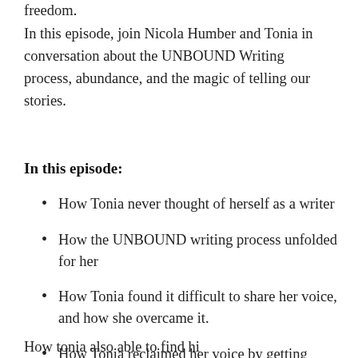freedom.
In this episode, join Nicola Humber and Tonia in conversation about the UNBOUND Writing process, abundance, and the magic of telling our stories.
In this episode:
How Tonia never thought of herself as a writer
How the UNBOUND writing process unfolded for her
How Tonia found it difficult to share her voice, and how she overcame it.
How Tonia reclaimed her voice by getting comfortable with the uncomfortable
How tonia also able to find her